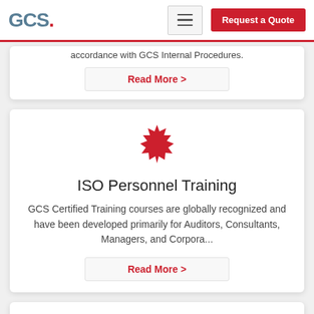GCS. [hamburger menu] [Request a Quote]
accordance with GCS Internal Procedures.
Read More >
[Figure (illustration): Red starburst/badge icon representing certification or training]
ISO Personnel Training
GCS Certified Training courses are globally recognized and have been developed primarily for Auditors, Consultants, Managers, and Corpora...
Read More >
[Figure (illustration): Partial red circular icon visible at bottom of page]